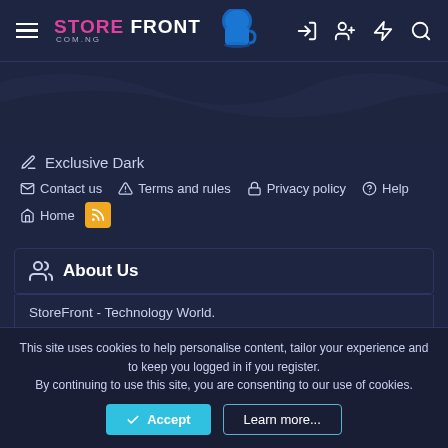STORE FRONT COM.NG — navigation header with hamburger menu, logo, cup icon, and icons for login, user, lightning, search
[Figure (screenshot): Dark navy wave decorative background area below header]
Exclusive Dark
Contact us  Terms and rules  Privacy policy  Help  Home  [RSS icon]
About Us
StoreFront - Technology World.
This site uses cookies to help personalise content, tailor your experience and to keep you logged in if you register. By continuing to use this site, you are consenting to our use of cookies.
Accept  Learn more...